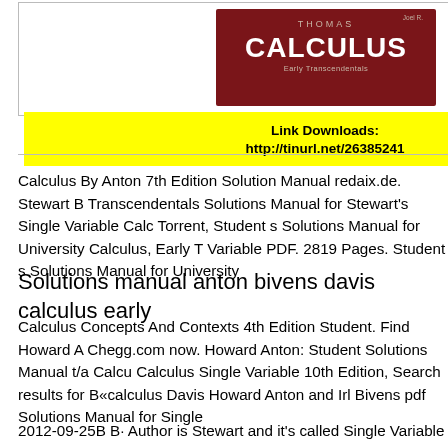[Figure (photo): Book cover of Thomas Calculus Early Transcendentals]
Link Downloads:
http://tinurl.net/26385241
Calculus By Anton 7th Edition Solution Manual redaix.de. Stewart B Transcendentals Solutions Manual for Stewart's Single Variable Calc Torrent, Student s Solutions Manual for University Calculus, Early T Variable PDF. 2819 Pages. Student s Solutions Manual for University
Solutions manual anton bivens davis calculus early
Calculus Concepts And Contexts 4th Edition Student. Find Howard A Chegg.com now. Howard Anton: Student Solutions Manual t/a Calculus Single Variable 10th Edition, Search results for B«calculus Davis Howard Anton and Irl Bivens pdf Solutions Manual for Single
2012-09-25B B· Author is Stewart and it's called Single Variable Cal